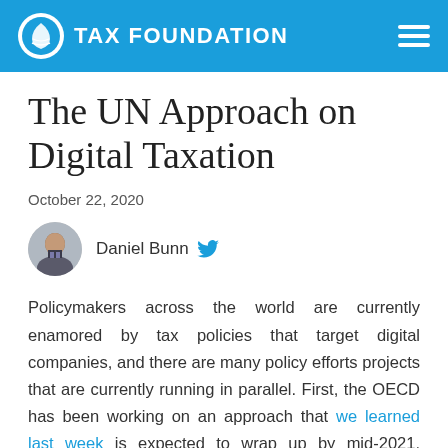TAX FOUNDATION
The UN Approach on Digital Taxation
October 22, 2020
Daniel Bunn
Policymakers across the world are currently enamored by tax policies that target digital companies, and there are many policy efforts projects that are currently running in parallel. First, the OECD has been working on an approach that we learned last week is expected to wrap up by mid-2021. Second, many countries have been moving unilaterally to adopt digital services taxes, equalization levies, and other policies that